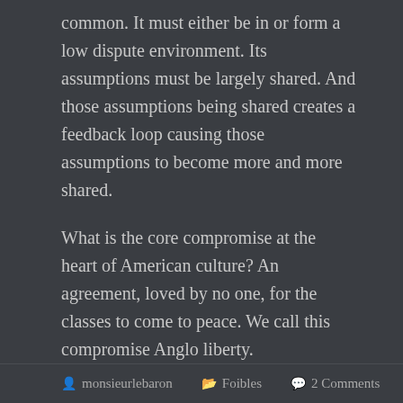common. It must either be in or form a low dispute environment. Its assumptions must be largely shared. And those assumptions being shared creates a feedback loop causing those assumptions to become more and more shared.
What is the core compromise at the heart of American culture? An agreement, loved by no one, for the classes to come to peace. We call this compromise Anglo liberty.
And it is dying.
Don't panic, no, not yet,
Monsieur le Baron
monsieurlebaron   Foibles   2 Comments